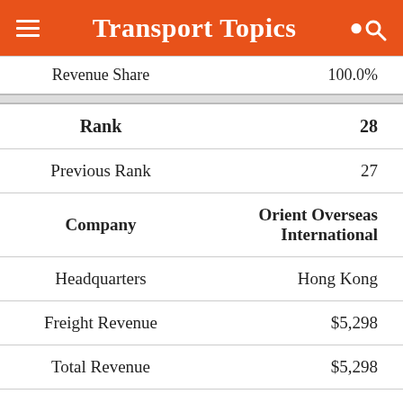Transport Topics
| Revenue Share | 100.0% |
| Rank | 28 |
| Previous Rank | 27 |
| Company | Orient Overseas International |
| Headquarters | Hong Kong |
| Freight Revenue | $5,298 |
| Total Revenue | $5,298 |
| Revenue Share | 100.0% |
| Rank | 29 |